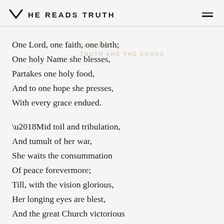HE READS TRUTH
One Lord, one faith, one birth;
One holy Name she blesses,
Partakes one holy food,
And to one hope she presses,
With every grace endued.

'Mid toil and tribulation,
And tumult of her war,
She waits the consummation
Of peace forevermore;
Till, with the vision glorious,
Her longing eyes are blest,
And the great Church victorious
Shall be the Church at rest.